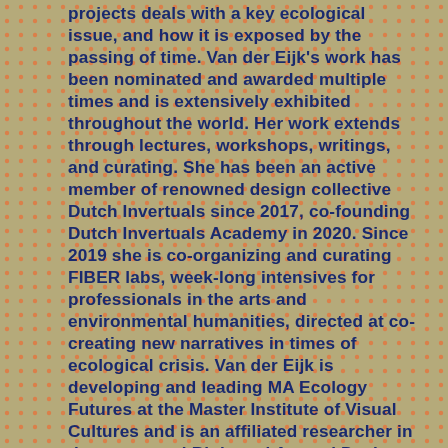projects deals with a key ecological issue, and how it is exposed by the passing of time. Van der Eijk's work has been nominated and awarded multiple times and is extensively exhibited throughout the world. Her work extends through lectures, workshops, writings, and curating. She has been an active member of renowned design collective Dutch Invertuals since 2017, co-founding Dutch Invertuals Academy in 2020. Since 2019 she is co-organizing and curating FIBER labs, week-long intensives for professionals in the arts and environmental humanities, directed at co-creating new narratives in times of ecological crisis. Van der Eijk is developing and leading MA Ecology Futures at the Master Institute of Visual Cultures and is an affiliated researcher in the connected Biobased Art and Design Research Group of Caradt, working on the innovation of art education through the development of art-science discourse. Van der Eijk is currently undertaking her Ph.D. at Ulster University